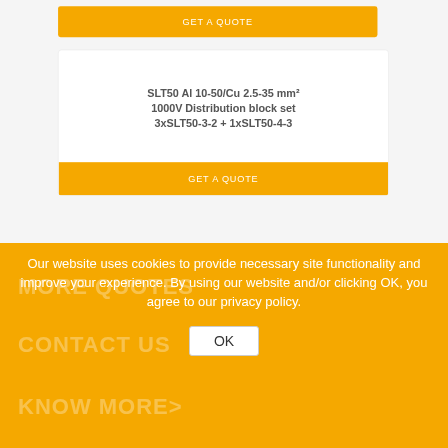GET A QUOTE
SLT50 Al 10-50/Cu 2.5-35 mm² 1000V Distribution block set 3xSLT50-3-2 + 1xSLT50-4-3
GET A QUOTE
Our website uses cookies to provide necessary site functionality and improve your experience. By using our website and/or clicking OK, you agree to our privacy policy.
OK